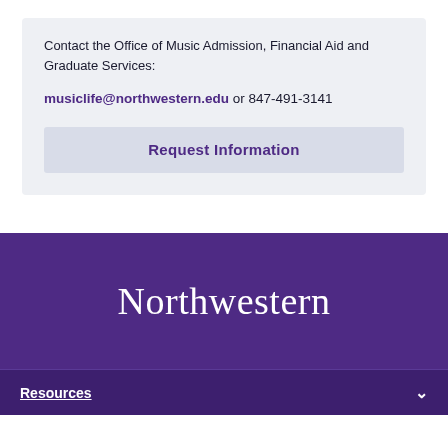Contact the Office of Music Admission, Financial Aid and Graduate Services:
musiclife@northwestern.edu or 847-491-3141
Request Information
[Figure (logo): Northwestern University wordmark in white serif font on purple background]
Resources